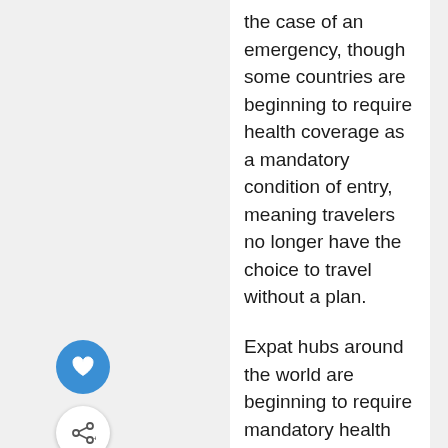the case of an emergency, though some countries are beginning to require health coverage as a mandatory condition of entry, meaning travelers no longer have the choice to travel without a plan.

Expat hubs around the world are beginning to require mandatory health insurance before issuing a visa, and more and more countries are deciding to refuse entry without it. Many travelers don't realize that without the correct insurance, they could be turned away from the destination they are visiting before they make it past airport arrivals.

The following countries are among those jumping on the trend of